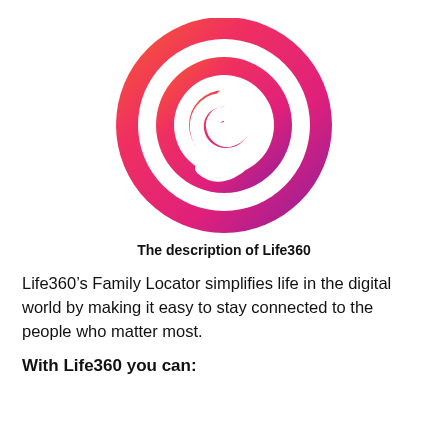[Figure (logo): Life360 app logo — circular gradient icon transitioning from orange-red at top to pink/magenta to purple at bottom, with white spiral/swirl path inside forming an abstract location pin or loop shape.]
The description of Life360
Life360’s Family Locator simplifies life in the digital world by making it easy to stay connected to the people who matter most.
With Life360 you can: